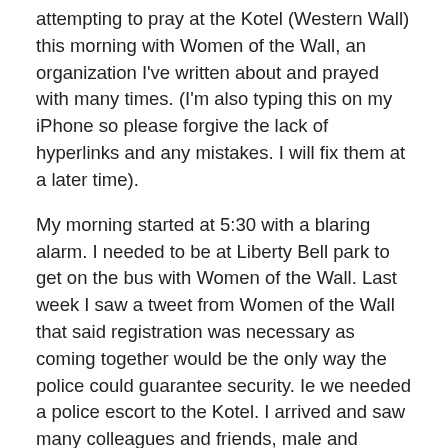attempting to pray at the Kotel (Western Wall) this morning with Women of the Wall, an organization I've written about and prayed with many times. (I'm also typing this on my iPhone so please forgive the lack of hyperlinks and any mistakes. I will fix them at a later time).
My morning started at 5:30 with a blaring alarm. I needed to be at Liberty Bell park to get on the bus with Women of the Wall. Last week I saw a tweet from Women of the Wall that said registration was necessary as coming together would be the only way the police could guarantee security. Ie we needed a police escort to the Kotel. I arrived and saw many colleagues and friends, male and female. 2 announcements were made. First a request not to take pictures during the prayers and not to talk to reporters during prayer. We then boarded buses. There were probably 350 people or so based solely on the number of